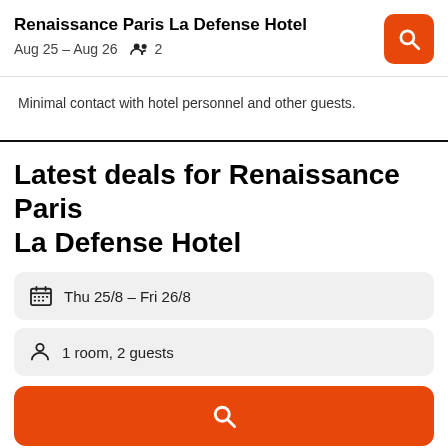Renaissance Paris La Defense Hotel
Aug 25 – Aug 26   2
Minimal contact with hotel personnel and other guests.
Latest deals for Renaissance Paris La Defense Hotel
Thu 25/8  -  Fri 26/8
1 room, 2 guests